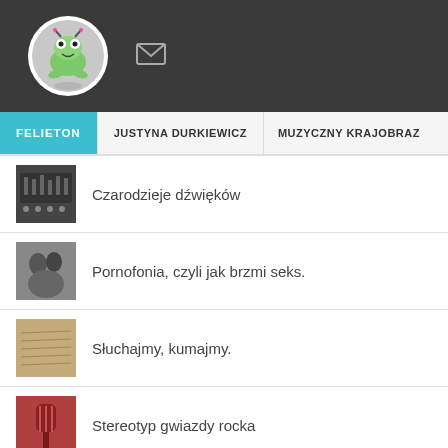[Figure (illustration): Dark gray header banner with a circular avatar showing a cartoon frog/alien character, and an email envelope icon to the right]
FELIETON   JUSTYNA DURKIEWICZ   MUZYCZNY KRAJOBRAZ
Czarodzieje dźwięków
Pornofonia, czyli jak brzmi seks.
Słuchajmy, kumajmy.
Stereotyp gwiazdy rocka
Niedaleko pada jabłko od jabłoni?